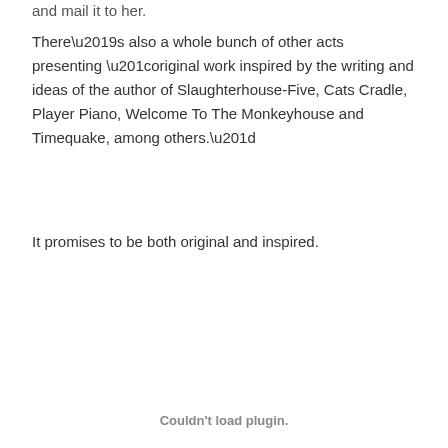and mail it to her.
There’s also a whole bunch of other acts presenting “original work inspired by the writing and ideas of the author of Slaughterhouse-Five, Cats Cradle, Player Piano, Welcome To The Monkeyhouse and Timequake, among others.”
It promises to be both original and inspired.
Couldn't load plugin.